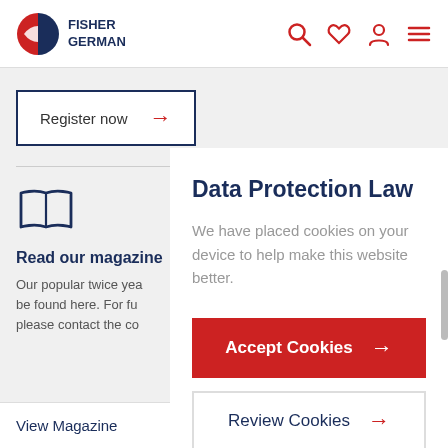[Figure (logo): Fisher German logo with circular half-red half-navy blue icon and company name text]
[Figure (illustration): Header navigation icons: search (magnifying glass), heart/favorites, person/account, hamburger menu — all in red]
Register now →
[Figure (illustration): Open book icon in navy blue outline style]
Read our magazine
Our popular twice yea... be found here. For fu... please contact the co...
View Magazine
Data Protection Law
We have placed cookies on your device to help make this website better.
Accept Cookies →
Review Cookies →